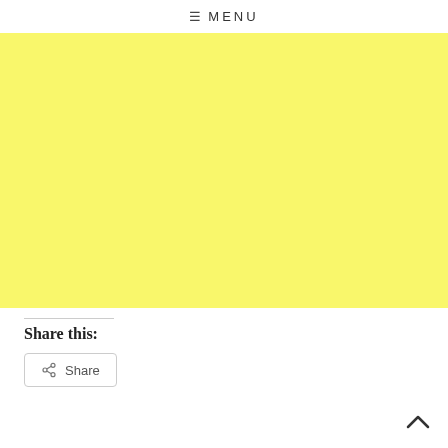≡ MENU
[Figure (other): Large yellow/light yellow rectangular block filling most of the upper portion of the page]
Share this:
Share